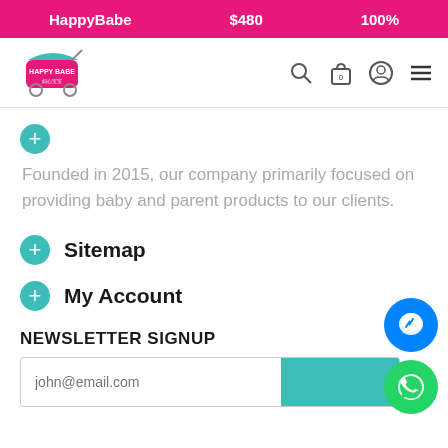HappyBabe  $480  100%
[Figure (logo): HappyBabe brand logo with baby stroller graphic and Chinese text 妈心宝宝]
[Figure (infographic): Navigation icons: search magnifier, shopping bag with 0, user profile circle, hamburger menu]
Founded in 2015, our company primarily focused on providing baby and parent products to our clients.
Sitemap
My Account
NEWSLETTER SIGNUP
[Figure (infographic): Email newsletter signup form with placeholder john@email.com and teal submit button]
[Figure (infographic): Floating Facebook Messenger button (blue circle) and WhatsApp button (green circle) on bottom right]